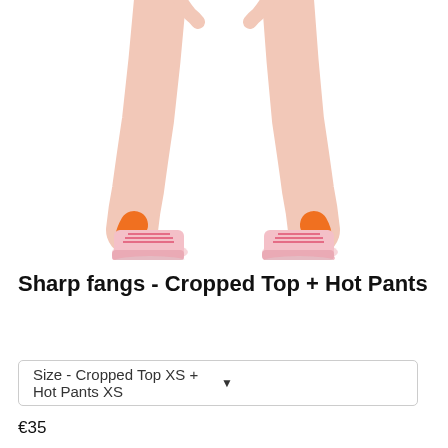[Figure (photo): Lower body of a female model with bare legs wearing orange ankle socks and pink platform shoes with pink laces, standing on white background]
Sharp fangs - Cropped Top + Hot Pants
Size - Cropped Top XS + Hot Pants XS
€35